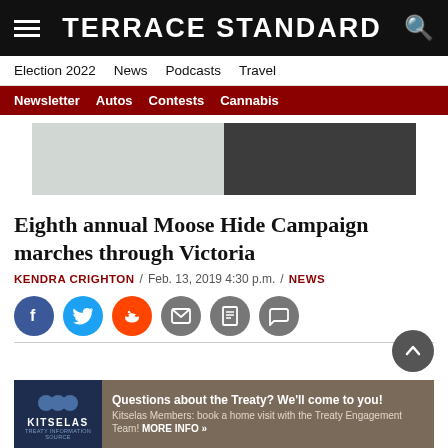TERRACE STANDARD
Election 2022  News  Podcasts  Travel
Newsletter  Autos  Contests  Cannabis
[Figure (other): Advertisement banner placeholder with light grey left half and dark grey right half]
Eighth annual Moose Hide Campaign marches through Victoria
KENDRA CRIGHTON / Feb. 13, 2019 4:30 p.m. / NEWS
[Figure (infographic): Social share buttons: Facebook (blue), Twitter (light blue), Reddit (orange), Email (grey), Print (grey), Comment (grey)]
[Figure (infographic): Kitselas Treaty advertisement: Questions about the Treaty? We'll come to you! Kitselas Members: book a home visit with the Treaty Engagement Team! MORE INFO »]